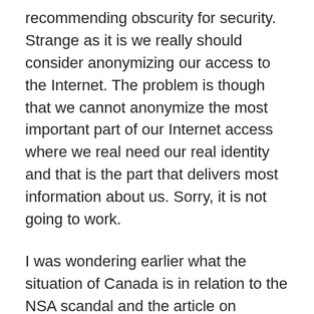recommending obscurity for security. Strange as it is we really should consider anonymizing our access to the Internet. The problem is though that we cannot anonymize the most important part of our Internet access where we real need our real identity and that is the part that delivers most information about us. Sorry, it is not going to work.
I was wondering earlier what the situation of Canada is in relation to the NSA scandal and the article on Canada's part in NSA plan revealed that we cannot count on Canada to be impartial in the matter. They are in on it and quite likely Blackberry is no better choice than other U.S. controlled mobile phones.
I cannot remember when was the first time I heard that “passwords are dead”, it must have been years and years ago but this same mantra is repeated over and over again